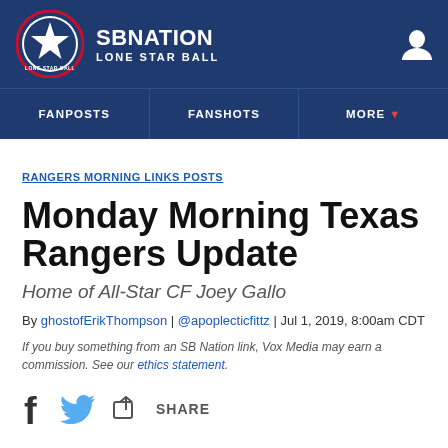SB NATION — LONE STAR BALL
FANPOSTS | FANSHOTS | MORE
RANGERS MORNING LINKS POSTS
Monday Morning Texas Rangers Update
Home of All-Star CF Joey Gallo
By ghostofErikThompson | @apoplecticfittz | Jul 1, 2019, 8:00am CDT
If you buy something from an SB Nation link, Vox Media may earn a commission. See our ethics statement.
SHARE